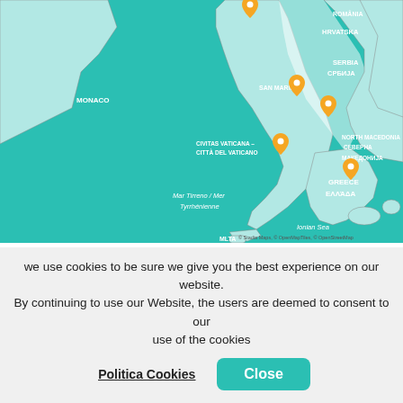[Figure (map): Mediterranean region map showing Italy, Croatia, Greece, Montenegro, and surrounding countries (Serbia, Romania, North Macedonia, Monaco, San Marino, Vatican City). Teal/turquoise land areas with white sea. Several orange location pin markers along Italy's eastern coast and in the Balkans. Map attribution: © Stadia Maps, © OpenMapTiles, © OpenStreetMap.]
Mediterranean
Italy > Croatia > Greece > Montenegro
Tour Operator    Ship
we use cookies to be sure we give you the best experience on our website. By continuing to use our Website, the users are deemed to consent to our use of the cookies